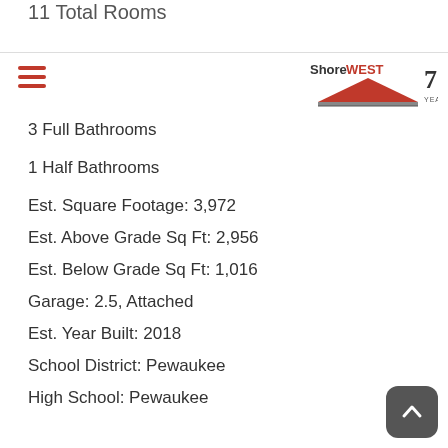11 Total Rooms
[Figure (logo): ShoreWest 75 Years logo with red triangle]
3 Full Bathrooms
1 Half Bathrooms
Est. Square Footage: 3,972
Est. Above Grade Sq Ft: 2,956
Est. Below Grade Sq Ft: 1,016
Garage: 2.5, Attached
Est. Year Built: 2018
School District: Pewaukee
High School: Pewaukee
Body of Water: Pewaukee Lake
Est. Waterfront Footage: 50.0
County: Waukesha
Postal Municipality: Pewaukee
MLS#: 1790843